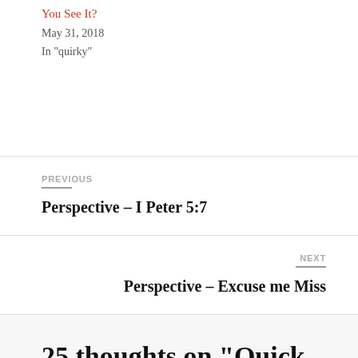You See It?
May 31, 2018
In "quirky"
PREVIOUS
Perspective – I Peter 5:7
NEXT
Perspective – Excuse me Miss
25 thoughts on “Quick Tip – Snakes and Soap/Garden Pest